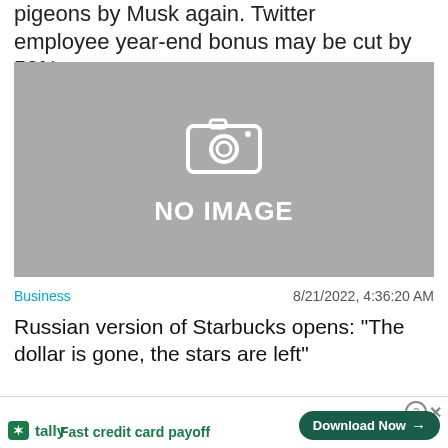pigeons by Musk again. Twitter employee year-end bonus may be cut by 50%
[Figure (photo): No image placeholder with camera icon and text 'NO IMAGE' on grey background]
Business   8/21/2022, 4:36:20 AM
Russian version of Starbucks opens: "The dollar is gone, the stars are left"
[Figure (photo): Second no image placeholder, partially visible, with Close X button overlay]
tally Fast credit card payoff  Download Now →